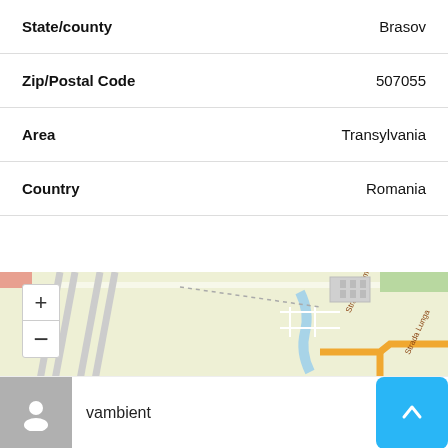| Field | Value |
| --- | --- |
| State/county | Brasov |
| Zip/Postal Code | 507055 |
| Area | Transylvania |
| Country | Romania |
[Figure (map): OpenStreetMap tile showing Strada Ghimbayu and Strada Lunga area near Brasov, Romania, with zoom controls (+/-)]
vambient